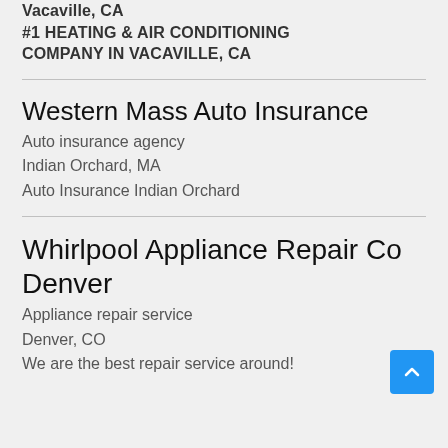Vacaville, CA
#1 HEATING & AIR CONDITIONING COMPANY IN VACAVILLE, CA
Western Mass Auto Insurance
Auto insurance agency
Indian Orchard, MA
Auto Insurance Indian Orchard
Whirlpool Appliance Repair Co Denver
Appliance repair service
Denver, CO
We are the best repair service around!